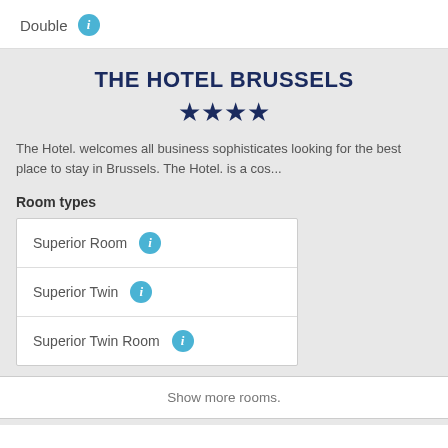Double
THE HOTEL BRUSSELS
[Figure (illustration): Four dark blue star icons indicating 4-star rating]
The Hotel. welcomes all business sophisticates looking for the best place to stay in Brussels. The Hotel. is a cos...
Room types
Superior Room
Superior Twin
Superior Twin Room
Show more rooms.